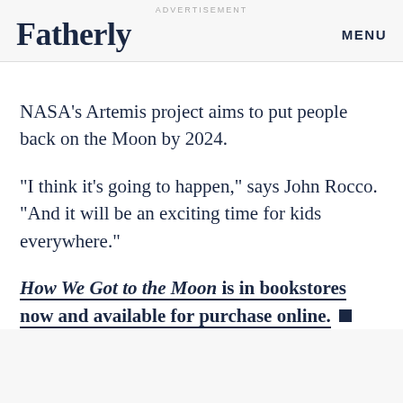ADVERTISEMENT
Fatherly
MENU
NASA's Artemis project aims to put people back on the Moon by 2024.
“I think it’s going to happen,” says John Rocco. “And it will be an exciting time for kids everywhere.”
How We Got to the Moon is in bookstores now and available for purchase online. ■